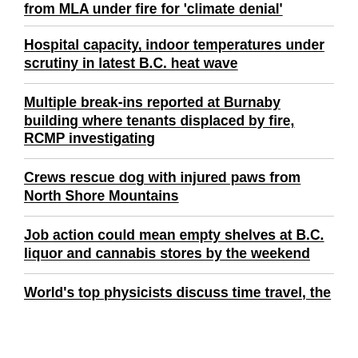from MLA under fire for 'climate denial'
Hospital capacity, indoor temperatures under scrutiny in latest B.C. heat wave
Multiple break-ins reported at Burnaby building where tenants displaced by fire, RCMP investigating
Crews rescue dog with injured paws from North Shore Mountains
Job action could mean empty shelves at B.C. liquor and cannabis stores by the weekend
World's top physicists discuss time travel, the